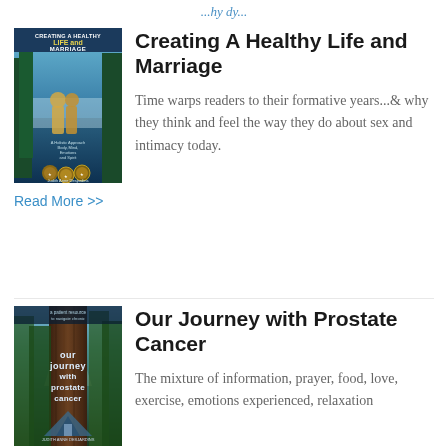...hy dy...
[Figure (illustration): Book cover: Creating A Healthy Life and Marriage, with two silhouettes and award medallions]
Creating A Healthy Life and Marriage
Time warps readers to their formative years...& why they think and feel the way they do about sex and intimacy today.
Read More >>
[Figure (illustration): Book cover: Our Journey with Prostate Cancer, forest/redwood scene with book title text]
Our Journey with Prostate Cancer
The mixture of information, prayer, food, love, exercise, emotions experienced, relaxation